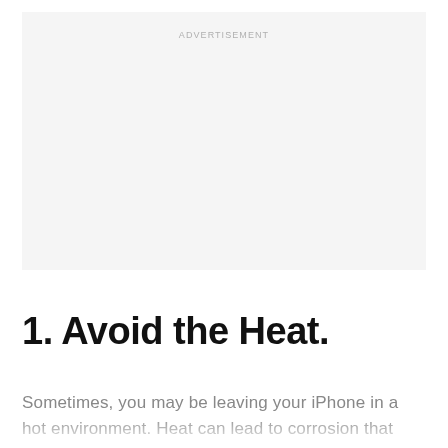[Figure (other): Advertisement placeholder box with light gray background and 'ADVERTISEMENT' label]
1. Avoid the Heat.
Sometimes, you may be leaving your iPhone in a hot environment. Heat can lead to corrosion that